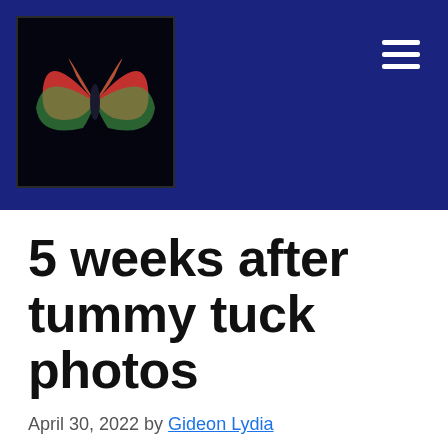[Figure (logo): Website logo: colorful butterfly-like shape on dark background]
5 weeks after tummy tuck photos
April 30, 2022 by Gideon Lydia
5 Weeks After Tummy Tuck: Photos, Thoughts, and More